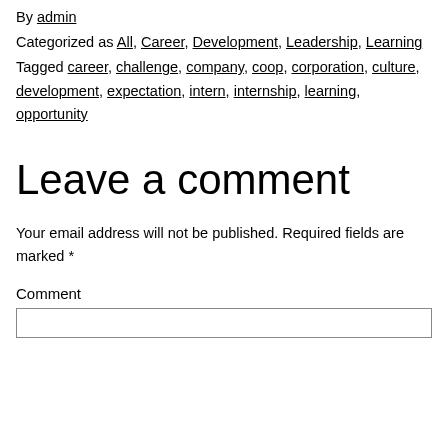By admin
Categorized as All, Career, Development, Leadership, Learning
Tagged career, challenge, company, coop, corporation, culture, development, expectation, intern, internship, learning, opportunity
Leave a comment
Your email address will not be published. Required fields are marked *
Comment